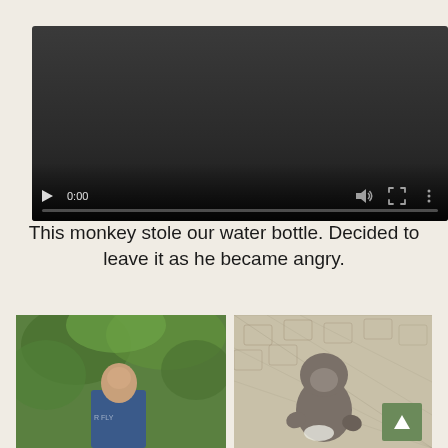[Figure (screenshot): Embedded video player showing a dark/black screen with playback controls at the bottom: play button, time display '0:00', volume icon, fullscreen icon, and a three-dot menu. A progress bar runs along the bottom.]
This monkey stole our water bottle. Decided to leave it as he became angry.
[Figure (photo): Photo of a man with short blond/grey hair wearing a blue graphic t-shirt, standing in front of lush green tropical vegetation.]
[Figure (photo): Photo of a grey monkey sitting on a tiled/mosaic surface, appearing to interact with something. A green back-to-top button with an upward arrow is overlaid in the bottom right corner.]